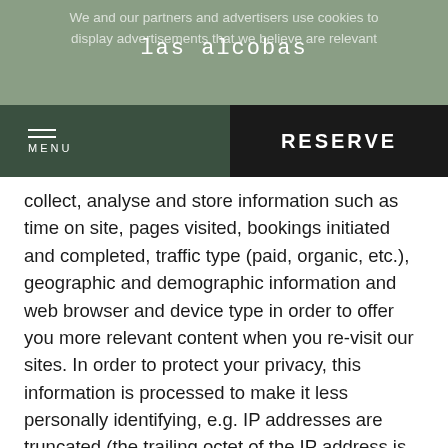We and our partners and advertisers use cookies to display advertisements that we believe are relevant
las alcobas
MENU | RESERVE
collect, analyse and store information such as time on site, pages visited, bookings initiated and completed, traffic type (paid, organic, etc.), geographic and demographic information and web browser and device type in order to offer you more relevant content when you re-visit our sites. In order to protect your privacy, this information is processed to make it less personally identifying, e.g. IP addresses are truncated (the trailing octet of the IP address is replaced with 0's) before geo-coding and storing, email addresses and other personally identifying information is hashed in an irreversible manner etc.